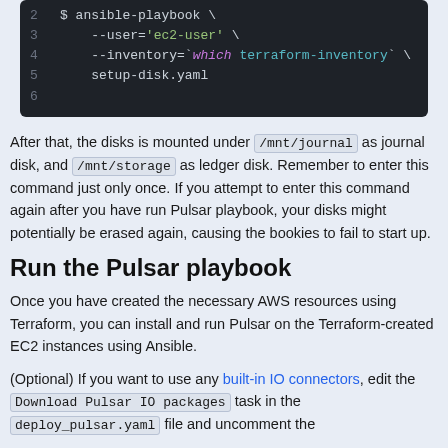[Figure (screenshot): Code block showing ansible-playbook command with line numbers 2-6. Lines show --user='ec2-user' and --inventory=`which terraform-inventory` and setup-disk.yaml]
After that, the disks is mounted under /mnt/journal as journal disk, and /mnt/storage as ledger disk. Remember to enter this command just only once. If you attempt to enter this command again after you have run Pulsar playbook, your disks might potentially be erased again, causing the bookies to fail to start up.
Run the Pulsar playbook
Once you have created the necessary AWS resources using Terraform, you can install and run Pulsar on the Terraform-created EC2 instances using Ansible.
(Optional) If you want to use any built-in IO connectors, edit the Download Pulsar IO packages task in the deploy_pulsar.yaml file and uncomment the